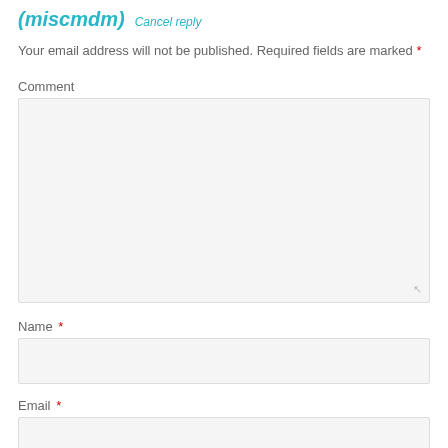(miscmdm) Cancel reply
Your email address will not be published. Required fields are marked *
Comment
Name *
Email *